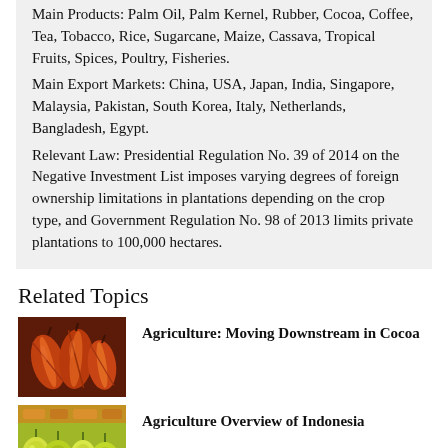Main Products: Palm Oil, Palm Kernel, Rubber, Cocoa, Coffee, Tea, Tobacco, Rice, Sugarcane, Maize, Cassava, Tropical Fruits, Spices, Poultry, Fisheries.
Main Export Markets: China, USA, Japan, India, Singapore, Malaysia, Pakistan, South Korea, Italy, Netherlands, Bangladesh, Egypt.
Relevant Law: Presidential Regulation No. 39 of 2014 on the Negative Investment List imposes varying degrees of foreign ownership limitations in plantations depending on the crop type, and Government Regulation No. 98 of 2013 limits private plantations to 100,000 hectares.
Related Topics
[Figure (photo): Photo of cocoa pods, reddish-orange colored, clustered together]
Agriculture: Moving Downstream in Cocoa
[Figure (photo): Photo of tropical fruits, green and yellow, at a market]
Agriculture Overview of Indonesia